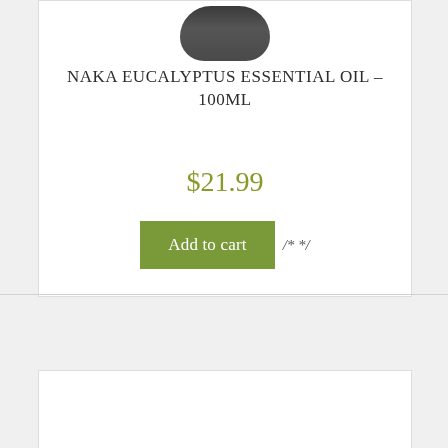[Figure (photo): Partial top view of a small dark bottle of Naka Eucalyptus Essential Oil, cropped at the top of the page]
NAKA EUCALYPTUS ESSENTIAL OIL – 100ML
$21.99
Add to cart /* */